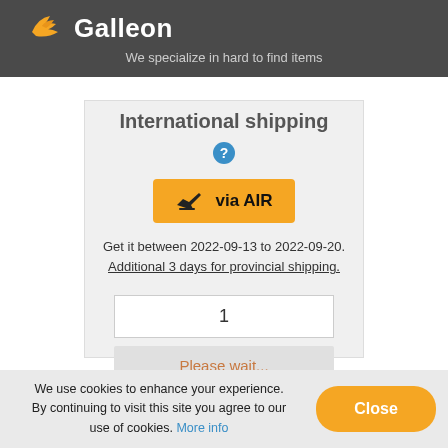Galleon - We specialize in hard to find items
International shipping
[Figure (infographic): Orange 'via AIR' button with airplane icon]
Get it between 2022-09-13 to 2022-09-20. Additional 3 days for provincial shipping.
1
Please wait...
We use cookies to enhance your experience. By continuing to visit this site you agree to our use of cookies. More info